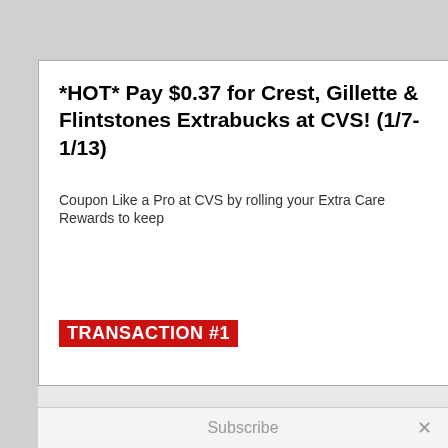*HOT* Pay $0.37 for Crest, Gillette & Flintstones Extrabucks at CVS! (1/7-1/13)
Coupon Like a Pro at CVS by rolling your Extra Care Rewards to keep
TRANSACTION #1